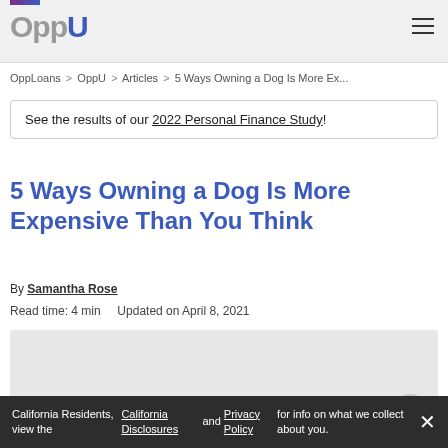OppU
OppLoans > OppU > Articles > 5 Ways Owning a Dog Is More Ex...
See the results of our 2022 Personal Finance Study!
5 Ways Owning a Dog Is More Expensive Than You Think
By Samantha Rose
Read time: 4 min    Updated on April 8, 2021
[Figure (photo): Gray placeholder image area for article hero image]
California Residents, view the California Disclosures and Privacy Policy for info on what we collect about you.